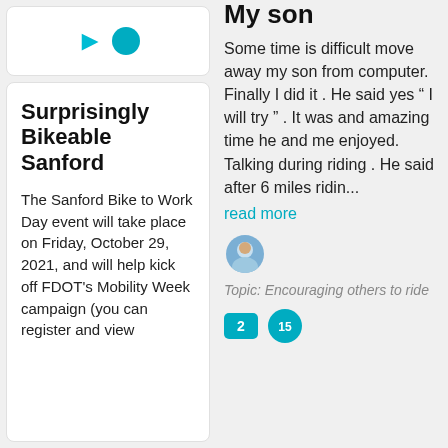[Figure (illustration): Card with arrow and teal circle icons at top of left column]
Surprisingly Bikeable Sanford
The Sanford Bike to Work Day event will take place on Friday, October 29, 2021, and will help kick off FDOT's Mobility Week campaign (you can register and view
My son
Some time is difficult move away my son from computer. Finally I did it . He said yes “ I will try ” . It was and amazing time he and me enjoyed. Talking during riding . He said after 6 miles ridin...
read more
[Figure (photo): Small circular avatar photo of a person outdoors]
Topic: Encouraging others to ride
[Figure (infographic): Two small teal badges: one showing number 2, one showing a hand/palm icon with 15]